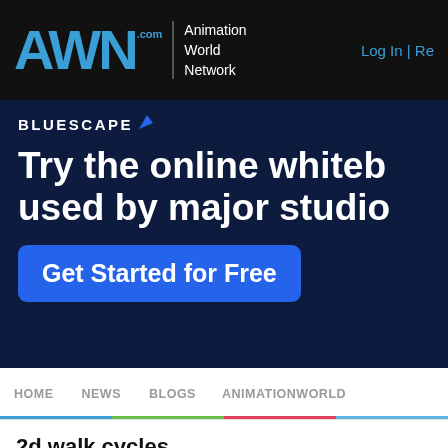AWN.com Animation World Network | Log In | Re
[Figure (infographic): Bluescape advertisement banner on dark navy background with text: BLUESCAPE, Try the online whiteb[oard] used by major studio[s], and a blue Get Started for Free button]
HOME  NEWS  BLOGS  ANIMATIONWORLD
2d walk cycles
Home » Forums » General AWN Forums » The Educator's Forum